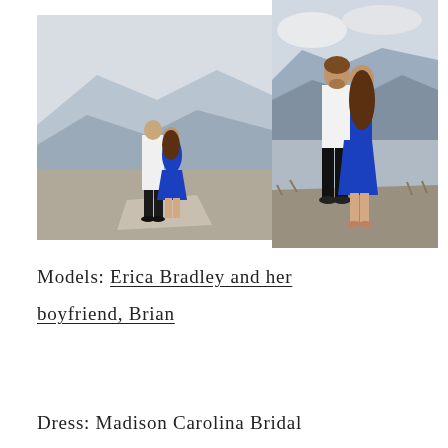[Figure (photo): Two engagement photos side by side. Left: couple from behind embracing on a mountain overlook, woman in royal blue dress, man in white shirt and black pants. Right: couple facing each other on a rocky ledge with mountain views, woman in royal blue dress, man in white shirt and black pants.]
Models: Erica Bradley and her boyfriend, Brian
Dress: Madison Carolina Bridal